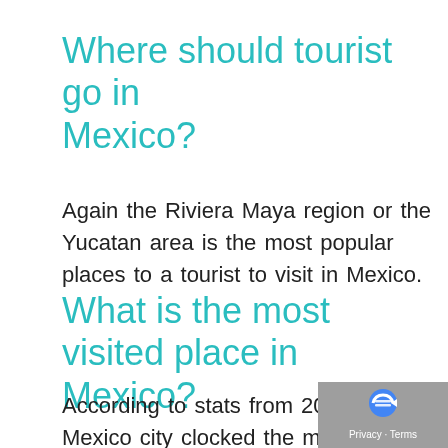Where should tourist go in Mexico?
Again the Riviera Maya region or the Yucatan area is the most popular places to a tourist to visit in Mexico.
What is the most visited place in Mexico?
According to stats from 2019, Mexico city clocked the most